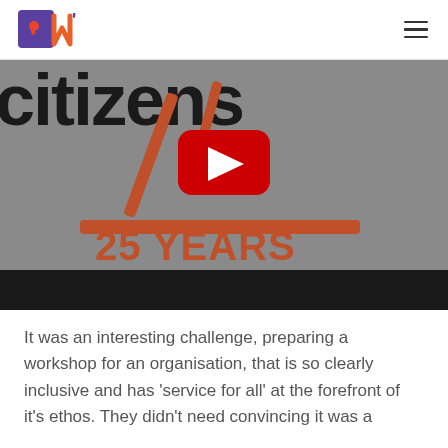Logo and navigation header
[Figure (screenshot): YouTube video thumbnail showing large text 'citizens' and '25 YEARS' in orange/brown on a grey background with a YouTube play button overlay]
It was an interesting challenge, preparing a workshop for an organisation, that is so clearly inclusive and has 'service for all' at the forefront of it's ethos. They didn't need convincing it was a